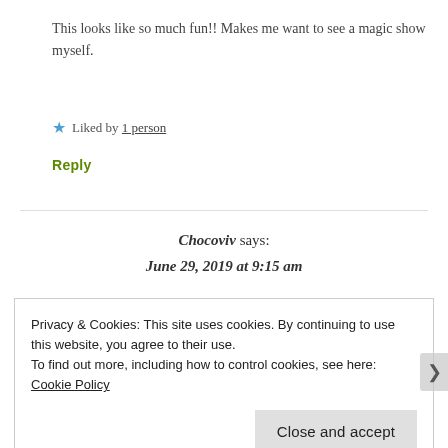This looks like so much fun!! Makes me want to see a magic show myself.
★ Liked by 1 person
Reply
Chocoviv says: June 29, 2019 at 9:15 am
Privacy & Cookies: This site uses cookies. By continuing to use this website, you agree to their use.
To find out more, including how to control cookies, see here: Cookie Policy
Close and accept